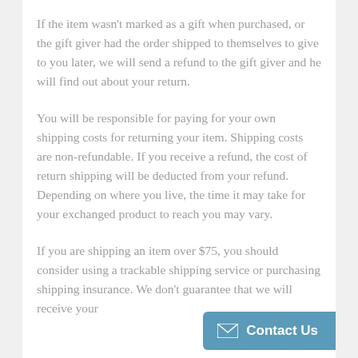If the item wasn't marked as a gift when purchased, or the gift giver had the order shipped to themselves to give to you later, we will send a refund to the gift giver and he will find out about your return.
You will be responsible for paying for your own shipping costs for returning your item. Shipping costs are non-refundable. If you receive a refund, the cost of return shipping will be deducted from your refund. Depending on where you live, the time it may take for your exchanged product to reach you may vary.
If you are shipping an item over $75, you should consider using a trackable shipping service or purchasing shipping insurance. We don't guarantee that we will receive your